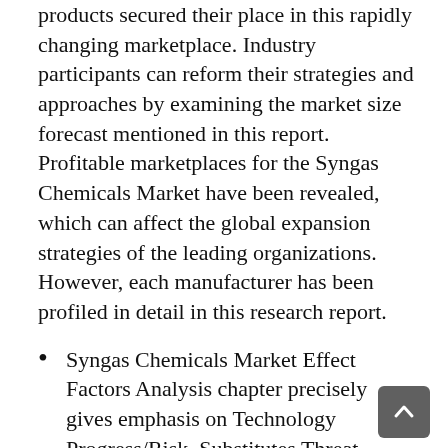products secured their place in this rapidly changing marketplace. Industry participants can reform their strategies and approaches by examining the market size forecast mentioned in this report. Profitable marketplaces for the Syngas Chemicals Market have been revealed, which can affect the global expansion strategies of the leading organizations. However, each manufacturer has been profiled in detail in this research report.
Syngas Chemicals Market Effect Factors Analysis chapter precisely gives emphasis on Technology Progress/Risk, Substitutes Threat, Consumer Needs/Customer Preference Changes, Technology Progress in Related Industry, and Economic/Political Environmental Changes that draw the growth factors of the Market.
The fastest & slowest growing market